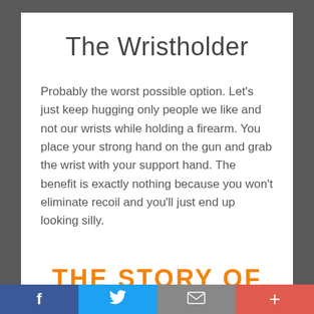The Wristholder
Probably the worst possible option. Let’s just keep hugging only people we like and not our wrists while holding a firearm. You place your strong hand on the gun and grab the wrist with your support hand. The benefit is exactly nothing because you won’t eliminate recoil and you’ll just end up looking silly.
THE STORY OF
f  [Twitter bird]  [mail]  +